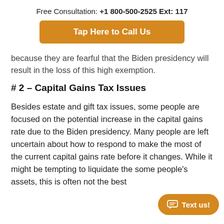Free Consultation: +1 800-500-2525 Ext: 117
Tap Here to Call Us
because they are fearful that the Biden presidency will result in the loss of this high exemption.
# 2 – Capital Gains Tax Issues
Besides estate and gift tax issues, some people are focused on the potential increase in the capital gains rate due to the Biden presidency. Many people are left uncertain about how to respond to make the most of the current capital gains rate before it changes. While it might be tempting to liquidate the some people's assets, this is often not the best